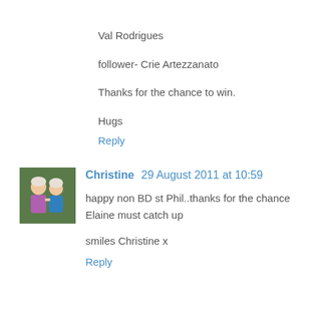Val Rodrigues
follower- Crie Artezzanato
Thanks for the chance to win.
Hugs
Reply
Christine 29 August 2011 at 10:59
[Figure (photo): Avatar photo of Christine showing two elderly women]
happy non BD st Phil..thanks for the chance Elaine must catch up
smiles Christine x
Reply